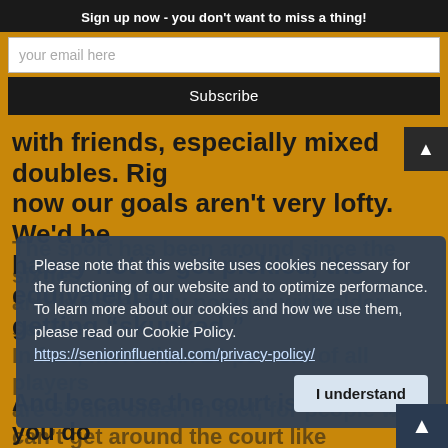Sign up now - you don't want to miss a thing!
your email here
Subscribe
with friends, especially mixed doubles. Right now our goals aren't very lofty. We'd be happy not to get pickled, the equivalent of getting “skunked.”
Please note that this website uses cookies necessary for the functioning of our website and to optimize performance. To learn more about our cookies and how we use them, please read our Cookie Policy. https://seniorinfluential.com/privacy-policy/
since the sixties and is especially popular with older seniors. In fact, more than 20 percent of all players are 55 and older. In fact, for people who can’t get around the court like they used to.
And because the court is smaller, you do